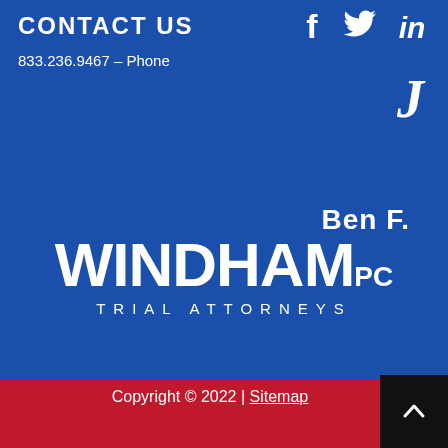CONTACT US
833.236.9467 – Phone
[Figure (logo): Social media icons: Facebook (f), Twitter (bird), LinkedIn (in), and a stylized J icon, all in white on blue background]
[Figure (logo): Ben F. Windham PC Trial Attorneys law firm logo in white on blue background]
Copyright © 2022 | Sitemap